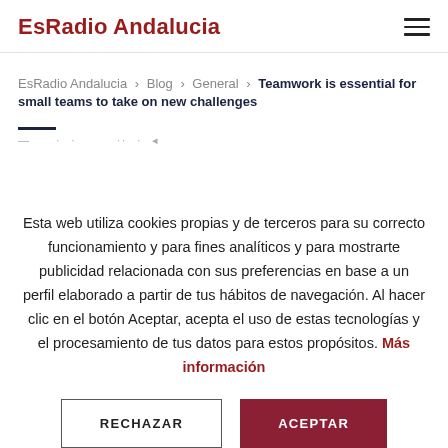EsRadio Andalucia
EsRadio Andalucia › Blog › General › Teamwork is essential for small teams to take on new challenges
Esta web utiliza cookies propias y de terceros para su correcto funcionamiento y para fines analíticos y para mostrarte publicidad relacionada con sus preferencias en base a un perfil elaborado a partir de tus hábitos de navegación. Al hacer clic en el botón Aceptar, acepta el uso de estas tecnologías y el procesamiento de tus datos para estos propósitos. Más información
RECHAZAR | ACEPTAR